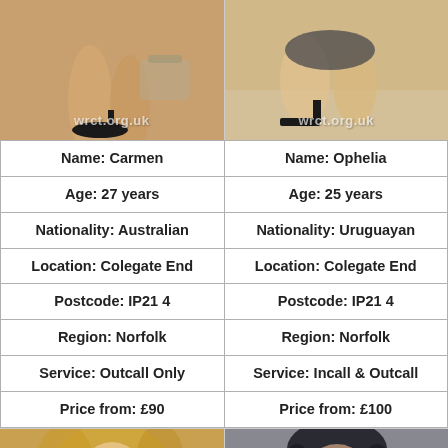[Figure (photo): Photo of Carmen - legs with high heels, watermark wrct.org.uk]
[Figure (photo): Photo of Ophelia - legs with high heels, watermark wrct.org.uk]
| Name: Carmen | Name: Ophelia |
| Age: 27 years | Age: 25 years |
| Nationality: Australian | Nationality: Uruguayan |
| Location: Colegate End | Location: Colegate End |
| Postcode: IP21 4 | Postcode: IP21 4 |
| Region: Norfolk | Region: Norfolk |
| Service: Outcall Only | Service: Incall & Outcall |
| Price from: £90 | Price from: £100 |
[Figure (photo): Portrait photo of blonde woman]
[Figure (photo): Portrait photo of brunette woman]